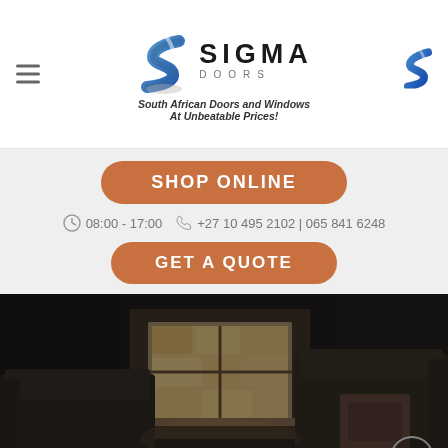Sigma Doors — South African Doors and Windows At Unbeatable Prices!
SHOP ONLINE
08:00 - 17:00   +27 10 495 2102 | 065 841 6248
GET A QUOTE
[Figure (photo): Dark interior room with sofas and a window with light coming through showing a stone wall outside]